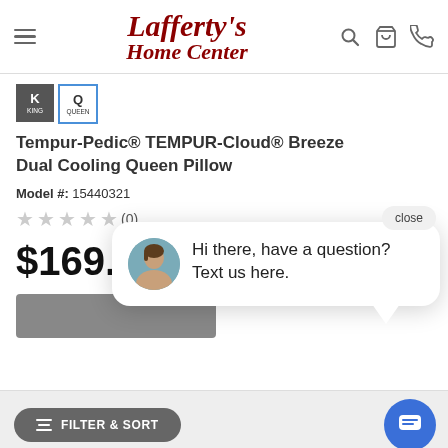[Figure (screenshot): Website header for Lafferty's Home Center with hamburger menu, logo, search, cart, and phone icons]
Lafferty's Home Center
Tempur-Pedic® TEMPUR-Cloud® Breeze Dual Cooling Queen Pillow
Model #: 15440321
★★★★★ (0)
$169.00
[Figure (screenshot): Chat popup with avatar saying 'Hi there, have a question? Text us here.' with close button]
Hi there, have a question? Text us here.
FILTER & SORT